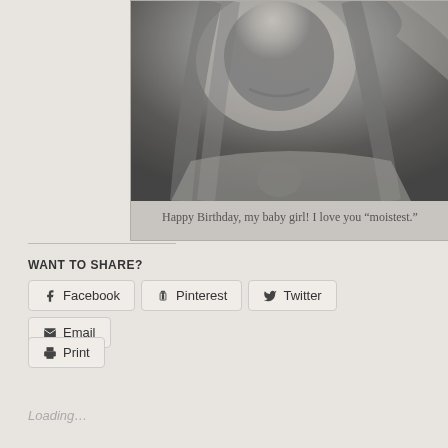[Figure (photo): Black and white close-up photo of a smiling young woman with long hair, partial face and upper body visible]
Happy Birthday, my baby girl! I love you “moistes.”
WANT TO SHARE?
Facebook | Pinterest | Twitter | Email | Print
Loading…